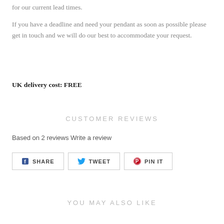for our current lead times.
If you have a deadline and need your pendant as soon as possible please get in touch and we will do our best to accommodate your request.
UK delivery cost: FREE
CUSTOMER REVIEWS
Based on 2 reviews Write a review
[Figure (other): Social share buttons: SHARE (Facebook), TWEET (Twitter), PIN IT (Pinterest)]
YOU MAY ALSO LIKE